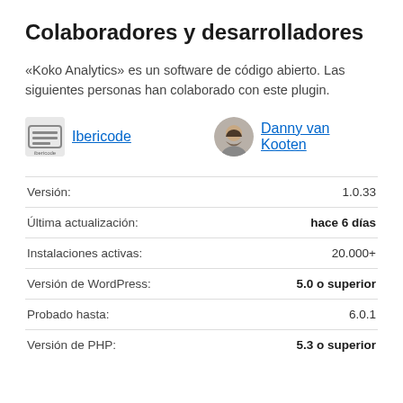Colaboradores y desarrolladores
«Koko Analytics» es un software de código abierto. Las siguientes personas han colaborado con este plugin.
Ibericode | Danny van Kooten
|  |  |
| --- | --- |
| Versión: | 1.0.33 |
| Última actualización: | hace 6 días |
| Instalaciones activas: | 20.000+ |
| Versión de WordPress: | 5.0 o superior |
| Probado hasta: | 6.0.1 |
| Versión de PHP: | 5.3 o superior |